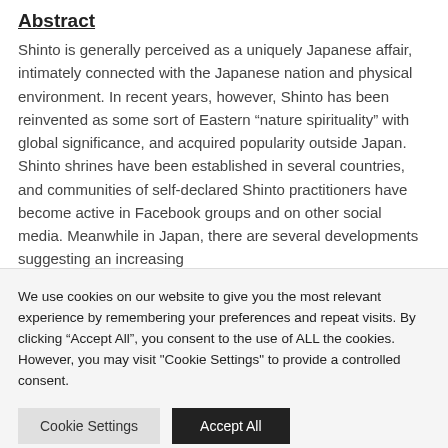Abstract
Shinto is generally perceived as a uniquely Japanese affair, intimately connected with the Japanese nation and physical environment. In recent years, however, Shinto has been reinvented as some sort of Eastern “nature spirituality” with global significance, and acquired popularity outside Japan. Shinto shrines have been established in several countries, and communities of self-declared Shinto practitioners have become active in Facebook groups and on other social media. Meanwhile in Japan, there are several developments suggesting an increasing
We use cookies on our website to give you the most relevant experience by remembering your preferences and repeat visits. By clicking “Accept All”, you consent to the use of ALL the cookies. However, you may visit “Cookie Settings” to provide a controlled consent.